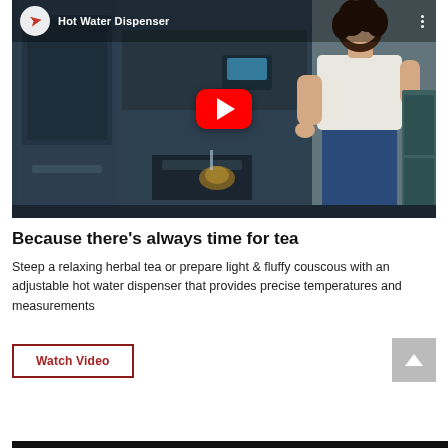[Figure (screenshot): YouTube video thumbnail showing a woman using a hot water dispenser on a refrigerator. Title reads 'Hot Water Dispenser'. Red YouTube play button in center. Dark kitchen background.]
Because there's always time for tea
Steep a relaxing herbal tea or prepare light & fluffy couscous with an adjustable hot water dispenser that provides precise temperatures and measurements